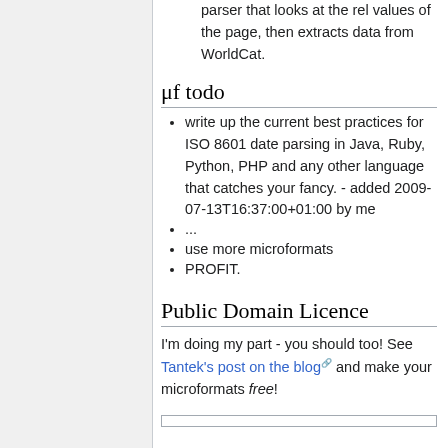parser that looks at the rel values of the page, then extracts data from WorldCat.
μf todo
write up the current best practices for ISO 8601 date parsing in Java, Ruby, Python, PHP and any other language that catches your fancy. - added 2009-07-13T16:37:00+01:00 by me
...
use more microformats
PROFIT.
Public Domain Licence
I'm doing my part - you should too! See Tantek's post on the blog and make your microformats free!